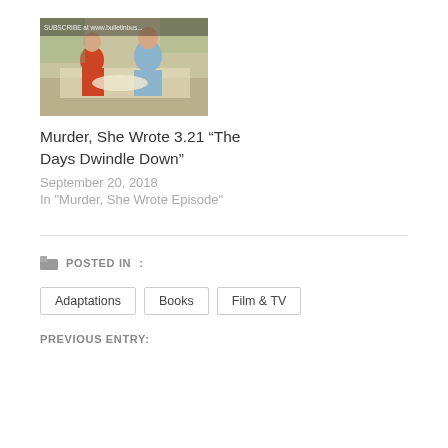[Figure (photo): A scene from Murder, She Wrote showing two people sitting at a table in what appears to be a cafe or restaurant. A woman in red on the left and a man in a light blue shirt on the right. Outdoor foliage visible through windows in the background.]
Murder, She Wrote 3.21 “The Days Dwindle Down”
September 20, 2018
In "Murder, She Wrote Episode"
POSTED IN:
Adaptations
Books
Film & TV
PREVIOUS ENTRY: